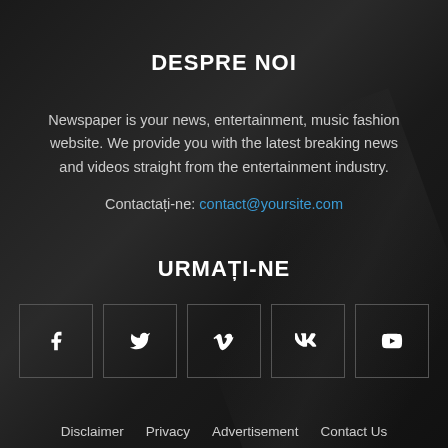DESPRE NOI
Newspaper is your news, entertainment, music fashion website. We provide you with the latest breaking news and videos straight from the entertainment industry.
Contactați-ne: contact@yoursite.com
URMAȚI-NE
[Figure (infographic): Five social media icon buttons in bordered squares: Facebook (f), Twitter (bird), Vimeo (V), VK (VK), YouTube (play button)]
Disclaimer   Privacy   Advertisement   Contact Us
© Newspaper WordPress Theme by TagDiv